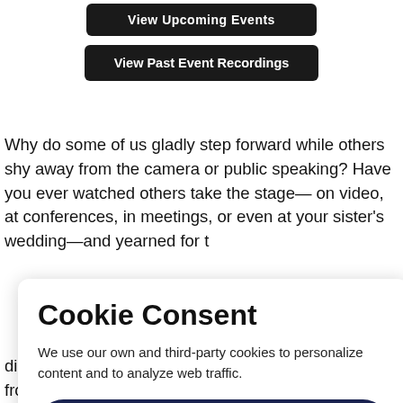[Figure (screenshot): Dark button labeled 'View Upcoming Events' cropped at top]
[Figure (screenshot): Dark button labeled 'View Past Event Recordings']
Why do some of us gladly step forward while others shy away from the camera or public speaking? Have you ever watched others take the stage— on video, at conferences, in meetings, or even at your sister's wedding—and yearned for that... al ...elivers a ...pping ... ...es ...f self- discovery that will reveal how you can free yourself from the
Cookie Consent
We use our own and third-party cookies to personalize content and to analyze web traffic.
Accept